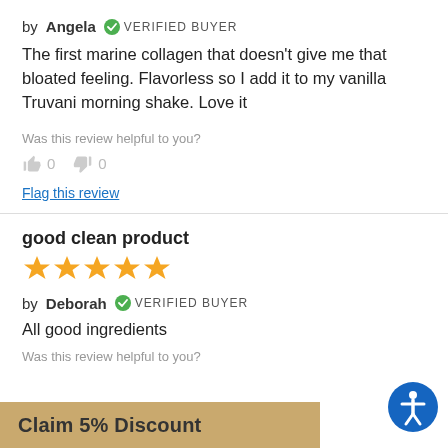by Angela VERIFIED BUYER
The first marine collagen that doesn't give me that bloated feeling. Flavorless so I add it to my vanilla Truvani morning shake. Love it
Was this review helpful to you?
👍 0   👎 0
Flag this review
good clean product
[Figure (other): 5 orange stars rating]
by Deborah VERIFIED BUYER
All good ingredients
Was this review helpful to you?
Claim 5% Discount